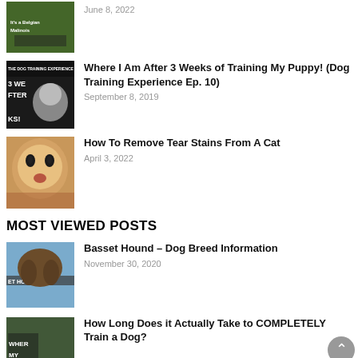[Figure (photo): Thumbnail of a Belgian Malinois dog with green background and text overlay]
June 8, 2022
[Figure (photo): Thumbnail of dog training experience video with black dog and text overlay]
Where I Am After 3 Weeks of Training My Puppy! (Dog Training Experience Ep. 10)
September 8, 2019
[Figure (photo): Close-up photo of an orange/white cat face]
How To Remove Tear Stains From A Cat
April 3, 2022
MOST VIEWED POSTS
[Figure (photo): Thumbnail of Basset Hound dog with text overlay 'ET HOUND']
Basset Hound – Dog Breed Information
November 30, 2020
[Figure (photo): Thumbnail of person training dog outdoors with text overlay 'WHER MY BE TR']
How Long Does it Actually Take to COMPLETELY Train a Dog?